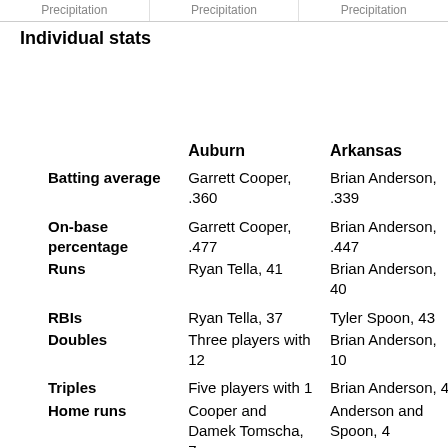Precipitation | Precipitation | Precipitation
Individual stats
|  | Auburn | Arkansas |
| --- | --- | --- |
| Batting average | Garrett Cooper, .360 | Brian Anderson, .339 |
| On-base percentage | Garrett Cooper, .477 | Brian Anderson, .447 |
| Runs | Ryan Tella, 41 | Brian Anderson, 40 |
| RBIs | Ryan Tella, 37 | Tyler Spoon, 43 |
| Doubles | Three players with 12 | Brian Anderson, 10 |
| Triples | Five players with 1 | Brian Anderson, 4 |
| Home runs | Cooper and Damek Tomscha, 7 | Anderson and Spoon, 4 |
| Stolen bases | Ryan Tella, 13-of-15 | Matt Vinson, 8-of-9 |